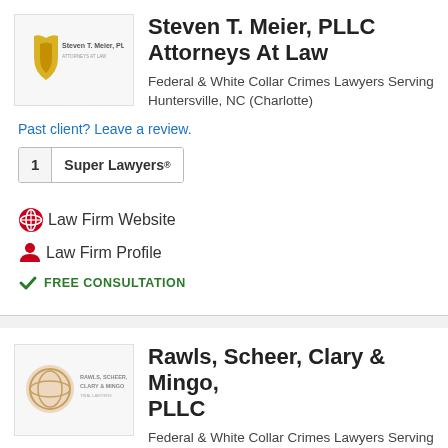[Figure (logo): Steven T. Meier, PLLC law firm logo with shield icon and firm name]
Steven T. Meier, PLLC Attorneys At Law
Federal & White Collar Crimes Lawyers Serving Huntersville, NC (Charlotte)
Past client? Leave a review.
1 Super Lawyers®
Law Firm Website
Law Firm Profile
FREE CONSULTATION
[Figure (logo): Rawls, Scheer, Clary & Mingo law firm logo with circular emblem]
Rawls, Scheer, Clary & Mingo, PLLC
Federal & White Collar Crimes Lawyers Serving Huntersville, NC (Charlotte)